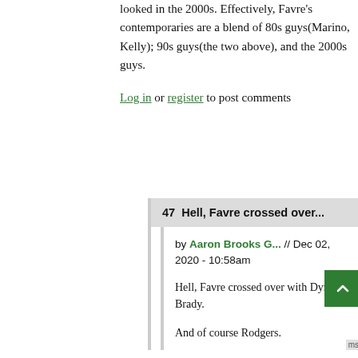looked in the 2000s. Effectively, Favre's contemporaries are a blend of 80s guys(Marino, Kelly); 90s guys(the two above), and the 2000s guys.
Log in or register to post comments
47  Hell, Favre crossed over...
by Aaron Brooks G... // Dec 02, 2020 - 10:58am
Hell, Favre crossed over with Dynasty Brady.
And of course Rodgers.